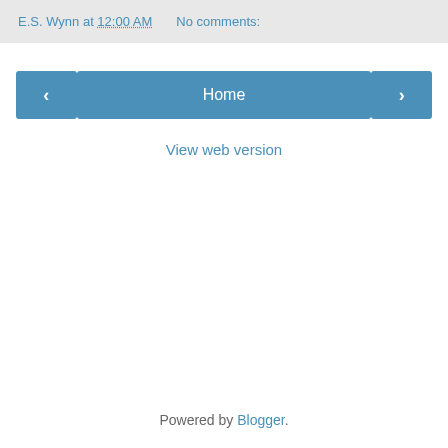E.S. Wynn at 12:00 AM    No comments:
‹
Home
›
View web version
Powered by Blogger.